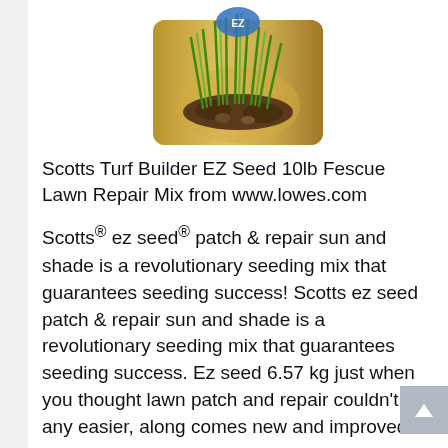[Figure (photo): Photo of Scotts Turf Builder EZ Seed product container — a gold/tan colored jug with green grass growing out of dark soil on top, and a partial blue logo visible at the top.]
Scotts Turf Builder EZ Seed 10lb Fescue Lawn Repair Mix from www.lowes.com
Scotts® ez seed® patch & repair sun and shade is a revolutionary seeding mix that guarantees seeding success! Scotts ez seed patch & repair sun and shade is a revolutionary seeding mix that guarantees seeding success. Ez seed 6.57 kg just when you thought lawn patch and repair couldn't get any easier, along comes new and improved scotts.